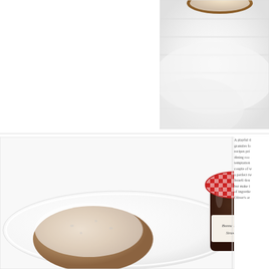[Figure (photo): Close-up photo of a powdered sugar-coated donut or pastry resting on a white fluffy towel/cloth, with bright white granulated sugar visible]
[Figure (photo): Photo of a sugar-dusted round donut/sufganiyah on a white plate next to a jar of Bonne Maman Strawberry preserve with red gingham lid]
A playful d... granules fo... recipes pri... dining roo... temptation... couple of w... a perfect tw... Israeli dou... but make i... of ingredie... Oliver's or...